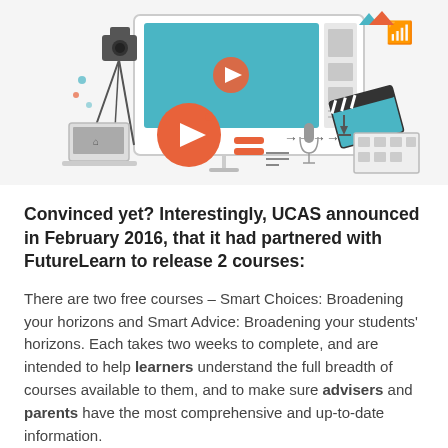[Figure (illustration): Flat-style illustration of digital media and e-learning elements: a video player screen with play button, camera on tripod, clapperboard, microphone, WiFi symbol, arrows, download icon, film reel, and other media/technology icons in teal, orange, red, and grey tones.]
Convinced yet? Interestingly, UCAS announced in February 2016, that it had partnered with FutureLearn to release 2 courses:
There are two free courses – Smart Choices: Broadening your horizons and Smart Advice: Broadening your students' horizons. Each takes two weeks to complete, and are intended to help learners understand the full breadth of courses available to them, and to make sure advisers and parents have the most comprehensive and up-to-date information.